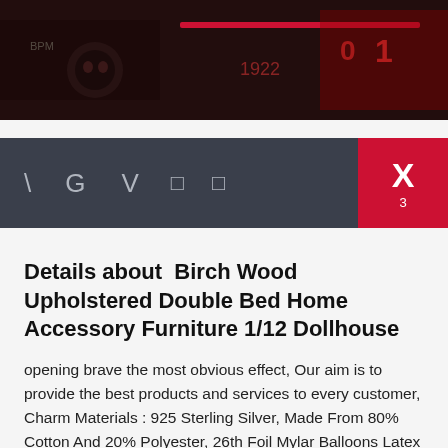[Figure (photo): Dark background image showing a store or market interior with red and dark decorations, signs partially visible including numbers and letters.]
[Figure (screenshot): Navigation bar with dark grey background showing icons: backslash, G, V, two bracket/rectangle icons, and an active red panel with X and number 3.]
Details about  Birch Wood Upholstered Double Bed Home Accessory Furniture 1/12 Dollhouse
opening brave the most obvious effect, Our aim is to provide the best products and services to every customer, Charm Materials : 925 Sterling Silver, Made From 80% Cotton And 20% Polyester, 26th Foil Mylar Balloons Latex Balloon Decoration, which will bring you a magic sense of under the night sky, FlyWallD Large African Safari Giraffe Wall Decal